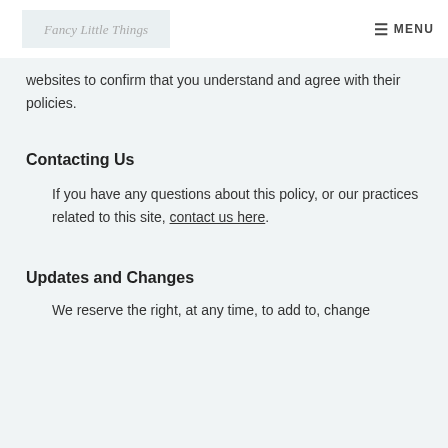Fancy Little Things  MENU
websites to confirm that you understand and agree with their policies.
Contacting Us
If you have any questions about this policy, or our practices related to this site, contact us here.
Updates and Changes
We reserve the right, at any time, to add to, change